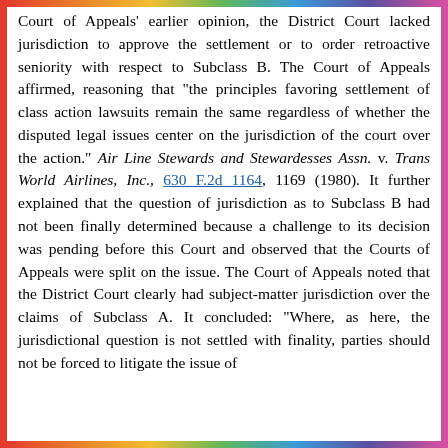Court of Appeals' earlier opinion, the District Court lacked jurisdiction to approve the settlement or to order retroactive seniority with respect to Subclass B. The Court of Appeals affirmed, reasoning that "the principles favoring settlement of class action lawsuits remain the same regardless of whether the disputed legal issues center on the jurisdiction of the court over the action." Air Line Stewards and Stewardesses Assn. v. Trans World Airlines, Inc., 630 F.2d 1164, 1169 (1980). It further explained that the question of jurisdiction as to Subclass B had not been finally determined because a challenge to its decision was pending before this Court and observed that the Courts of Appeals were split on the issue. The Court of Appeals noted that the District Court clearly had subject-matter jurisdiction over the claims of Subclass A. It concluded: "Where, as here, the jurisdictional question is not settled with finality, parties should not be forced to litigate the issue of